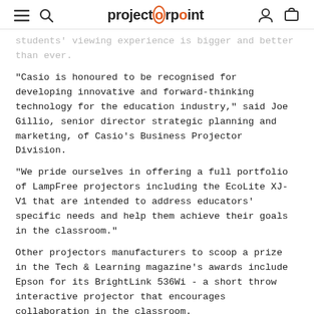projectorpoint
students' viewing experience is bigger and better than ever.
"Casio is honoured to be recognised for developing innovative and forward-thinking technology for the education industry," said Joe Gillio, senior director strategic planning and marketing, of Casio's Business Projector Division.
"We pride ourselves in offering a full portfolio of LampFree projectors including the EcoLite XJ-V1 that are intended to address educators' specific needs and help them achieve their goals in the classroom."
Other projectors manufacturers to scoop a prize in the Tech & Learning magazine's awards include Epson for its BrightLink 536Wi - a short throw interactive projector that encourages collaboration in the classroom.